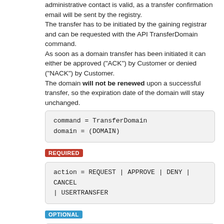administrative contact is valid, as a transfer confirmation email will be sent by the registry.
The transfer has to be initiated by the gaining registrar and can be requested with the API TransferDomain command.
As soon as a domain transfer has been initiated it can either be approved ("ACK") by Customer or denied ("NACK") by Customer.
The domain will not be renewed upon a successful transfer, so the expiration date of the domain will stay unchanged.
REQUIRED
OPTIONAL